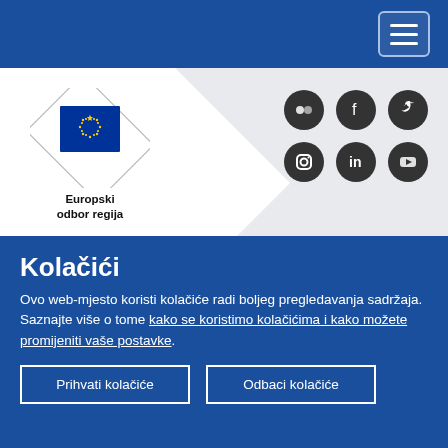European Committee of Regions website header with navigation menu button
[Figure (logo): European Committee of the Regions logo — EU flag emblem inside a diamond shape with text 'Europski odbor regija']
[Figure (infographic): Social media icons: Flickr, Facebook, Twitter, Instagram, LinkedIn, YouTube]
Medijski centar  Kontakt
Nalazite se ovdje > 🏠 > Vijesti > European Committee of the Regions calls to radically reform the way the EU works
Kolačići
Ovo web-mjesto koristi kolačiće radi boljeg pregledavanja sadržaja. Saznajte više o tome kako se koristimo kolačićima i kako možete promijeniti vaše postavke.
Prihvati kolačiće
Odbaci kolačiće